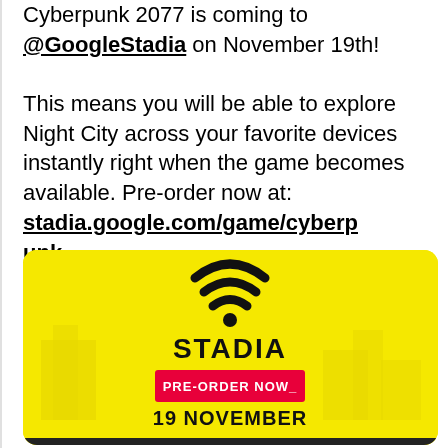Cyberpunk 2077 is coming to @GoogleStadia on November 19th!

This means you will be able to explore Night City across your favorite devices instantly right when the game becomes available. Pre-order now at: stadia.google.com/game/cyberpunk...
[Figure (photo): Stadia promotional image with yellow background showing Stadia logo (curved controller shape), text 'STADIA', a pink/red button 'PRE-ORDER NOW_', and '19 NOVEMBER' text. Faint city silhouette in background.]